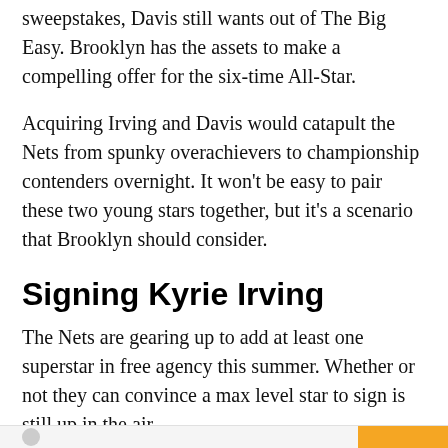sweepstakes, Davis still wants out of The Big Easy. Brooklyn has the assets to make a compelling offer for the six-time All-Star.
Acquiring Irving and Davis would catapult the Nets from spunky overachievers to championship contenders overnight. It won't be easy to pair these two young stars together, but it's a scenario that Brooklyn should consider.
Signing Kyrie Irving
The Nets are gearing up to add at least one superstar in free agency this summer. Whether or not they can convince a max level star to sign is still up in the air.